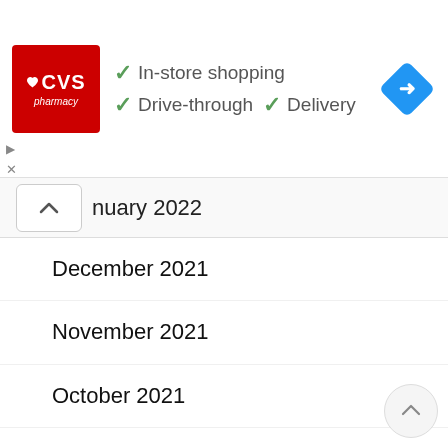[Figure (logo): CVS Pharmacy advertisement banner with logo, checkmarks for In-store shopping, Drive-through, Delivery, and a navigation diamond icon]
nuary 2022
December 2021
November 2021
October 2021
September 2021
August 2021
July 2021
June 2021